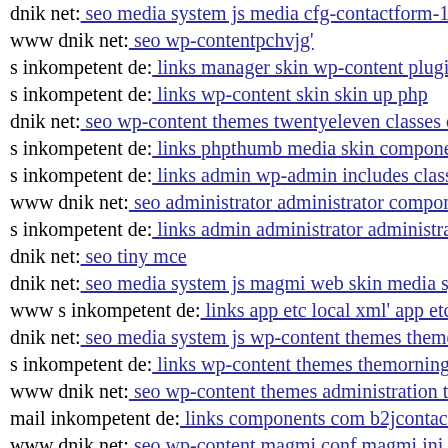dnik net: seo media system js media cfg-contactform-1 inc...
www dnik net: seo wp-contentpchvjg'
s inkompetent de: links manager skin wp-content plugins w...
s inkompetent de: links wp-content skin skin up php
dnik net: seo wp-content themes twentyeleven classes dnik...
s inkompetent de: links phpthumb media skin components...
s inkompetent de: links admin wp-admin includes class-wp...
www dnik net: seo administrator administrator component...
s inkompetent de: links admin administrator administrator...
dnik net: seo tiny mce
dnik net: seo media system js magmi web skin media syste...
www s inkompetent de: links app etc local xml' app etc ad...
dnik net: seo media system js wp-content themes thememi...
s inkompetent de: links wp-content themes themorningafte...
www dnik net: seo wp-content themes administration tmp...
mail inkompetent de: links components com b2jcontact pa...
www dnik net: seo wp-content magmi conf magmi ini
www dnik net: seo media components com b2jcontact meo...
dnik org: index assets vendor jquery filer uploads dnik net
www s inkompetent de: links app etc skin administrator in...
s inkompetent de: links admin administrator components...